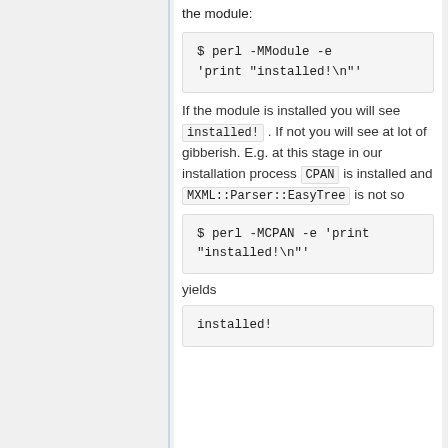the module:
$ perl -MModule -e 'print "installed!\n"'
If the module is installed you will see installed! . If not you will see at lot of gibberish. E.g. at this stage in our installation process CPAN is installed and MXML::Parser::EasyTree is not so
$ perl -MCPAN -e 'print "installed!\n"'
yields
installed!